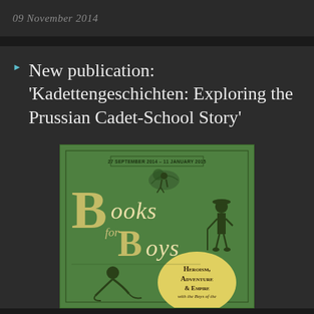09 November 2014
New publication: 'Kadettengeschichten: Exploring the Prussian Cadet-School Story'
[Figure (illustration): Book cover for 'Books for Boys: Heroism, Adventure & Empire' exhibition, dated 27 September 2014 – 11 January 2015. Green background with stylized text and illustrated figures of boys.]